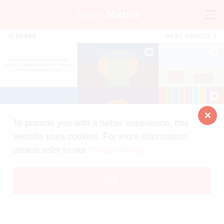Sassy Mama
SHARE  |  NEXT ARTICLE
[Figure (screenshot): Grid of Instagram-style images from Sassy Mama social feed, including text card about treating kids fairly, colorful lantern/puppet photos, book display, outdoor activity images]
To provide you with a better experience, this website uses cookies. For more information, please refer to our Privacy Policy
OK